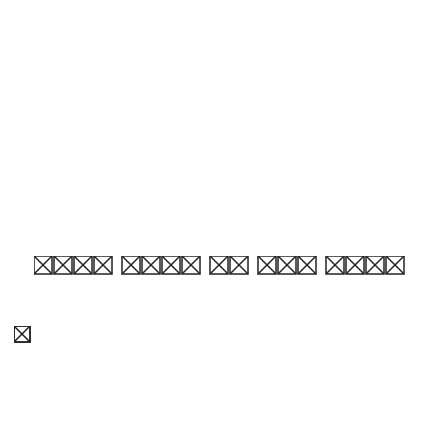[redacted] [redacted] [redacted] [redacted] [redacted] [redacted] [redacted] [redacted] [redacted] [redacted] [redacted]